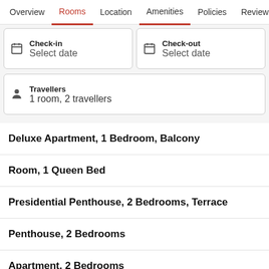Overview | Rooms | Location | Amenities | Policies | Reviews
Check-in: Select date
Check-out: Select date
Travellers: 1 room, 2 travellers
Deluxe Apartment, 1 Bedroom, Balcony
Room, 1 Queen Bed
Presidential Penthouse, 2 Bedrooms, Terrace
Penthouse, 2 Bedrooms
Apartment, 2 Bedrooms
Apartment, 1 Bedroom, Balcony